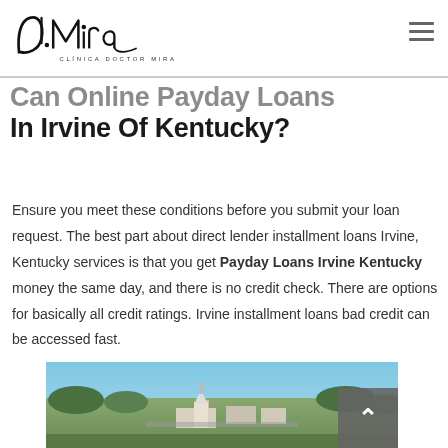Dr. Mira — CLÍNICA DOCTOR MIRA
Can I Online Payday Loans In Irvine Of Kentucky?
Ensure you meet these conditions before you submit your loan request. The best part about direct lender installment loans Irvine, Kentucky services is that you get Payday Loans Irvine Kentucky money the same day, and there is no credit check. There are options for basically all credit ratings. Irvine installment loans bad credit can be accessed fast.
[Figure (photo): Aerial or elevated photo of Irvine, Kentucky showing a small town landscape with trees, buildings, a church steeple, and surrounding greenery under a blue sky.]